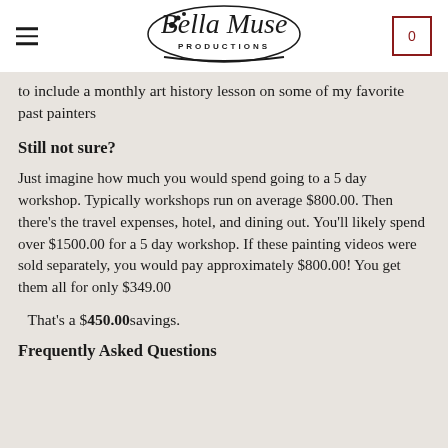Bella Muse Productions
to include a monthly art history lesson on some of my favorite past painters
Still not sure?
Just imagine how much you would spend going to a 5 day workshop.  Typically workshops run on average $800.00.  Then there's the travel expenses, hotel, and dining out.  You'll likely spend over $1500.00 for a 5 day workshop.  If these painting videos were sold separately, you would pay approximately $800.00!  You get them all for only $349.00
That's a $450.00 savings.
Frequently Asked Questions